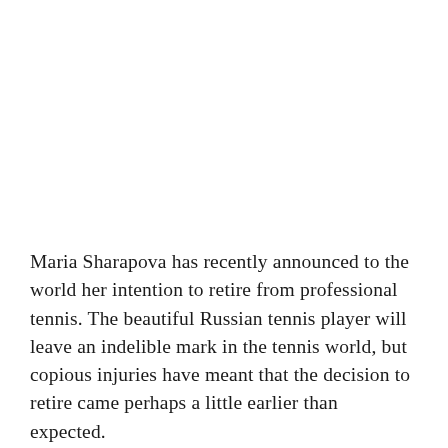Maria Sharapova has recently announced to the world her intention to retire from professional tennis. The beautiful Russian tennis player will leave an indelible mark in the tennis world, but copious injuries have meant that the decision to retire came perhaps a little earlier than expected.